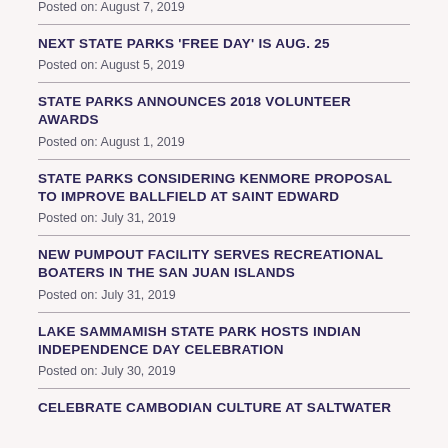Posted on: August 7, 2019
NEXT STATE PARKS 'FREE DAY' IS AUG. 25
Posted on: August 5, 2019
STATE PARKS ANNOUNCES 2018 VOLUNTEER AWARDS
Posted on: August 1, 2019
STATE PARKS CONSIDERING KENMORE PROPOSAL TO IMPROVE BALLFIELD AT SAINT EDWARD
Posted on: July 31, 2019
NEW PUMPOUT FACILITY SERVES RECREATIONAL BOATERS IN THE SAN JUAN ISLANDS
Posted on: July 31, 2019
LAKE SAMMAMISH STATE PARK HOSTS INDIAN INDEPENDENCE DAY CELEBRATION
Posted on: July 30, 2019
CELEBRATE CAMBODIAN CULTURE AT SALTWATER